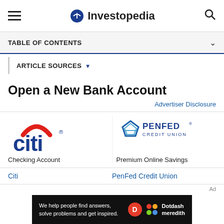Investopedia
TABLE OF CONTENTS
ARTICLE SOURCES
Open a New Bank Account
Advertiser Disclosure
[Figure (logo): Citi bank logo with red arc and blue text]
Checking Account
[Figure (logo): PenFed Credit Union logo with pentagon icon]
Premium Online Savings
Citi
PenFed Credit Union
[Figure (infographic): Dotdash Meredith footer banner: We help people find answers, solve problems and get inspired.]